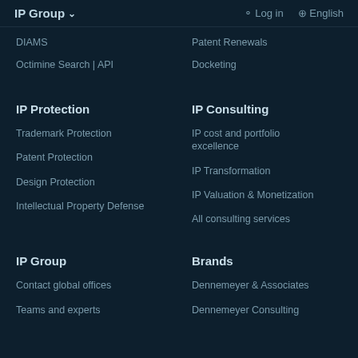IP Group ▾   Log in   English
DIAMS
Patent Renewals
Octimine Search | API
Docketing
IP Protection
IP Consulting
Trademark Protection
IP cost and portfolio excellence
Patent Protection
IP Transformation
Design Protection
IP Valuation & Monetization
Intellectual Property Defense
All consulting services
IP Group
Brands
Contact global offices
Dennemeyer & Associates
Teams and experts
Dennemeyer Consulting